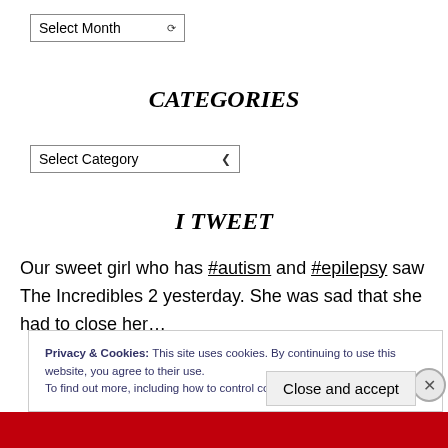Select Month (dropdown)
CATEGORIES
Select Category (dropdown)
I TWEET
Our sweet girl who has #autism and #epilepsy saw The Incredibles 2 yesterday. She was sad that she had to close her…
Privacy & Cookies: This site uses cookies. By continuing to use this website, you agree to their use. To find out more, including how to control cookies, see here: Cookie Policy
Close and accept